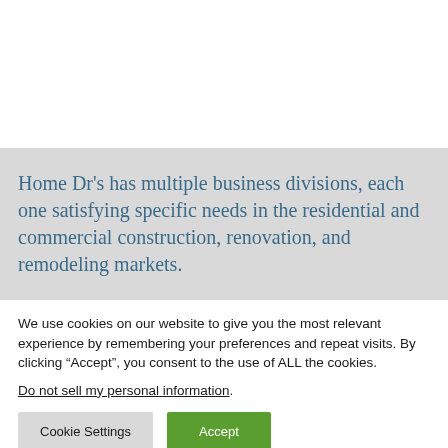Home Dr’s has multiple business divisions, each one satisfying specific needs in the residential and commercial construction, renovation, and remodeling markets.
We use cookies on our website to give you the most relevant experience by remembering your preferences and repeat visits. By clicking “Accept”, you consent to the use of ALL the cookies.
Do not sell my personal information.